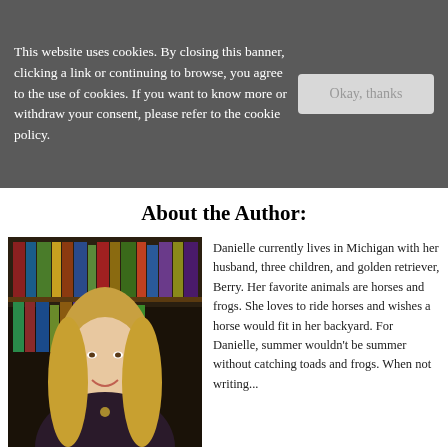This website uses cookies. By closing this banner, clicking a link or continuing to browse, you agree to the use of cookies. If you want to know more or withdraw your consent, please refer to the cookie policy.
About the Author:
[Figure (photo): Photo of the author, a woman with blonde hair, wearing a dark top with a necklace, standing in front of a bookshelf filled with colorful books.]
Danielle currently lives in Michigan with her husband, three children, and golden retriever, Berry. Her favorite animals are horses and frogs. She loves to ride horses and wishes a horse would fit in her backyard. For Danielle, summer wouldn't be summer without catching toads and frogs. When not writing...